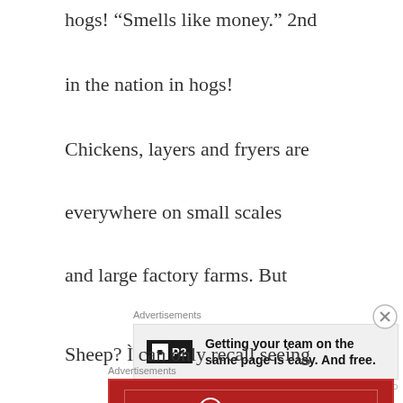hogs! “Smells like money.” 2nd
in the nation in hogs!
Chickens, layers and fryers are
everywhere on small scales
and large factory farms. But
[Figure (other): Advertisement for P2 with text: Getting your team on the same page is easy. And free.]
Sheep? Ì can only recall seeing
[Figure (other): Advertisement for Longreads: The best stories on the web – ours, and everyone else’s.]